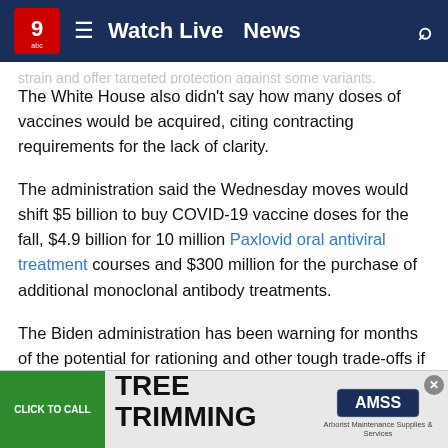Watch Live  News
strain and offer targeted protection against some variants. The White House also didn't say how many doses of vaccines would be acquired, citing contracting requirements for the lack of clarity.
The administration said the Wednesday moves would shift $5 billion to buy COVID-19 vaccine doses for the fall, $4.9 billion for 10 million Paxlovid oral antiviral treatment courses and $300 million for the purchase of additional monoclonal antibody treatments.
The Biden administration has been warning for months of the potential for rationing and other tough trade-offs if Congress doesn't act to provide additional funding, saying that it would cost lives as people's immunity from booster doses or from prior infection wane.
[Figure (infographic): Advertisement banner: green 'Click to Call' button, 'Tree Trimming' text, AMSS logo with tagline 'Arborist Maintenance Supplies & Services']